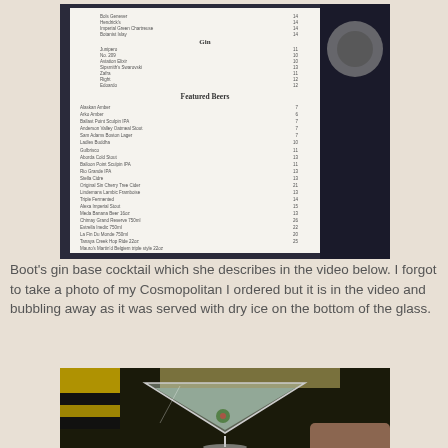[Figure (photo): Photo of a restaurant drink menu showing Gin section and Featured Beers section with various beer names and prices listed]
Boot's gin base cocktail which she describes in the video below. I forgot to take a photo of my Cosmopolitan I ordered but it is in the video and bubbling away as it was served with dry ice on the bottom of the glass.
[Figure (photo): Photo of a martini glass containing a clear/pale green cocktail with a green olive garnish, photographed from the side]